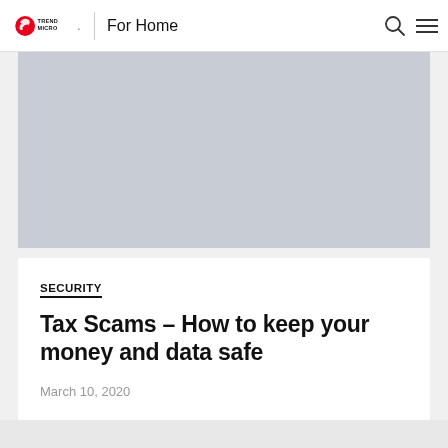Trend Micro | For Home
[Figure (photo): Gray placeholder hero image for article about Tax Scams]
SECURITY
Tax Scams – How to keep your money and data safe
March 10, 2020